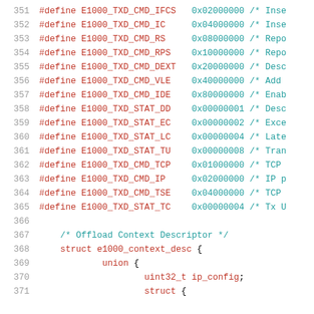[Figure (screenshot): Source code listing showing C preprocessor #define macros for E1000 network driver constants (lines 351-365) and beginning of struct e1000_context_desc definition (lines 367-371), displayed in a code editor with syntax highlighting.]